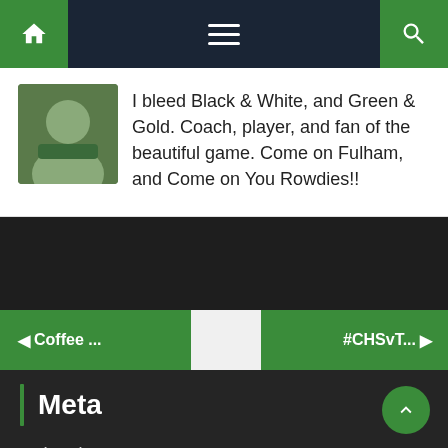Navigation bar with home, menu, and search icons
I bleed Black & White, and Green & Gold. Coach, player, and fan of the beautiful game. Come on Fulham, and Come on You Rowdies!!
◄ Coffee ...
#CHSvT... ►
Meta
> Log in
> Entries feed
> Comments feed